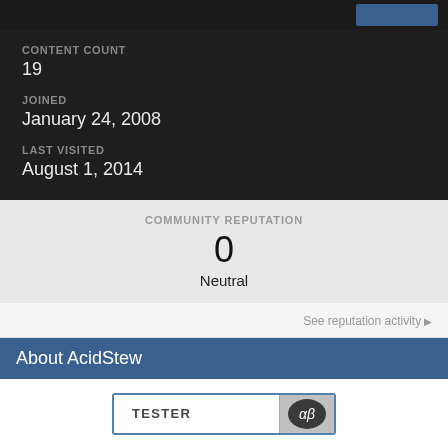CONTENT COUNT
19
JOINED
January 24, 2008
LAST VISITED
August 1, 2014
COMMUNITY REPUTATION
0
Neutral
See reputation activity ▶
About AcidStew
[Figure (other): Tester badge with TESTER text on left and αβ symbol on right dark rounded section]
Rank
Ubuntu Tester